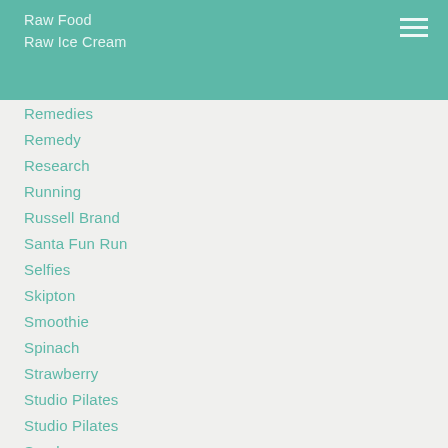Raw Food
Raw Ice Cream
Remedies
Remedy
Research
Running
Russell Brand
Santa Fun Run
Selfies
Skipton
Smoothie
Spinach
Strawberry
Studio Pilates
Studio Pilates
Sundae
Sustainability
Talks
Teeth
The China Study
The Snooks